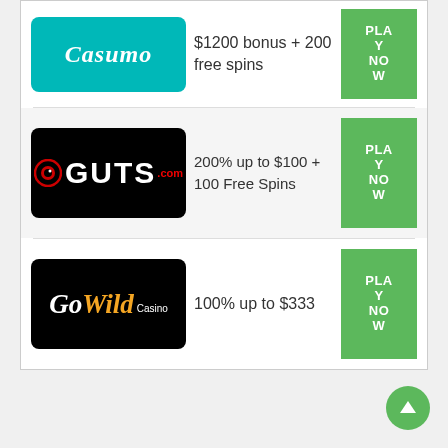[Figure (logo): Casumo casino logo - teal/turquoise background with white italic script text 'Casumo']
$1200 bonus + 200 free spins
PLAY NOW
[Figure (logo): GUTS.com casino logo - black background with circular eye icon and white bold text 'GUTS' with red '.com' superscript]
200% up to $100 + 100 Free Spins
PLAY NOW
[Figure (logo): GoWild Casino logo - black background with white italic 'Go' and yellow italic 'Wild' and small white 'Casino' text]
100% up to $333
PLAY NOW